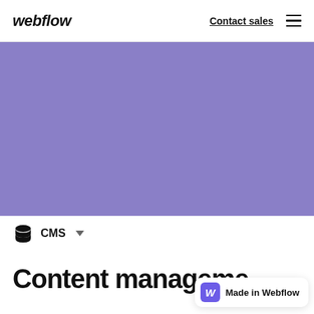webflow  Contact sales  ≡
[Figure (illustration): Large purple/lavender colored rectangular hero image area with uniform purple color (#8a7fc7)]
CMS
Content management,